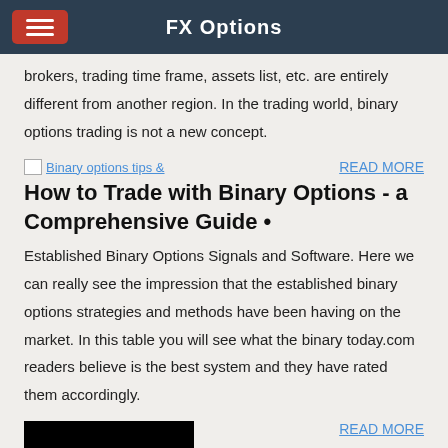FX Options
brokers, trading time frame, assets list, etc. are entirely different from another region. In the trading world, binary options trading is not a new concept.
[Figure (screenshot): Broken image thumbnail labeled 'Binary options tips &']
READ MORE
How to Trade with Binary Options - a Comprehensive Guide •
Established Binary Options Signals and Software. Here we can really see the impression that the established binary options strategies and methods have been having on the market. In this table you will see what the binary today.com readers believe is the best system and they have rated them accordingly.
[Figure (screenshot): Thumbnail image showing a trading table/chart]
READ MORE
ExpertOption® Fast Online